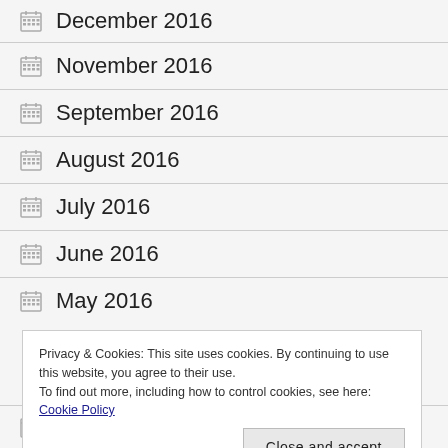December 2016
November 2016
September 2016
August 2016
July 2016
June 2016
May 2016
Privacy & Cookies: This site uses cookies. By continuing to use this website, you agree to their use.
To find out more, including how to control cookies, see here: Cookie Policy
December 2015